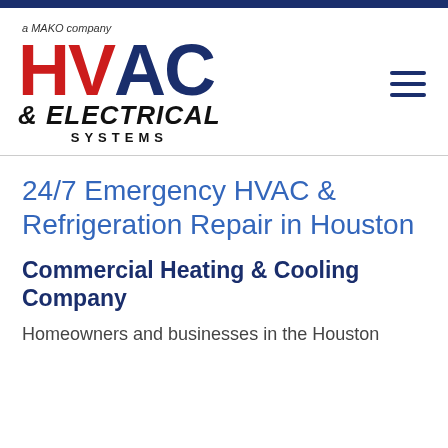[Figure (logo): HVAC & Electrical Systems logo — a MAKO company. HV in red, AC in dark blue, large bold letters. Below: '& ELECTRICAL' in black italic bold, 'SYSTEMS' in black spaced caps.]
24/7 Emergency HVAC & Refrigeration Repair in Houston
Commercial Heating & Cooling Company
Homeowners and businesses in the Houston